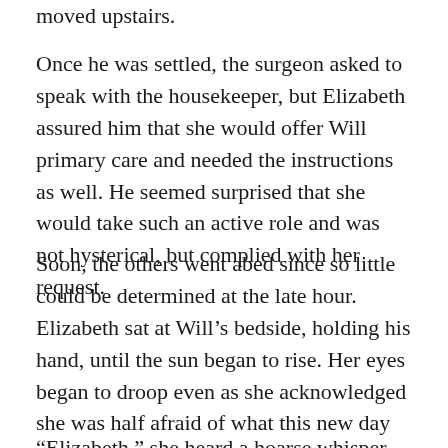moved upstairs.
Once he was settled, the surgeon asked to speak with the housekeeper, but Elizabeth assured him that she would offer Will primary care and needed the instructions as well. He seemed surprised that she would take such an active role and was not hysterical, but complied with her request.
Soon, the others went abed since so little could be determined at the late hour. Elizabeth sat at Will’s bedside, holding his hand, until the sun began to rise. Her eyes began to droop even as she acknowledged she was half afraid of what this new day would bring.
“Elizabeth,” she heard a hoarse whisper.